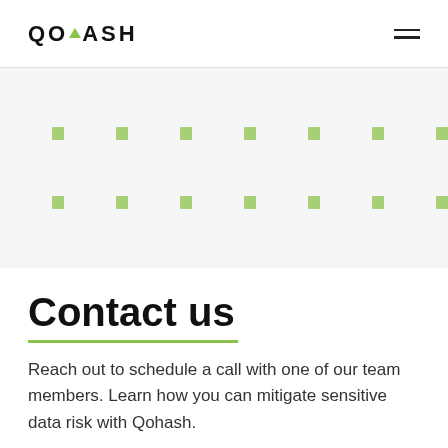QOHASH
[Figure (illustration): Decorative grid pattern of small green squares arranged in two rows on a light gray background]
Contact us
Reach out to schedule a call with one of our team members. Learn how you can mitigate sensitive data risk with Qohash.